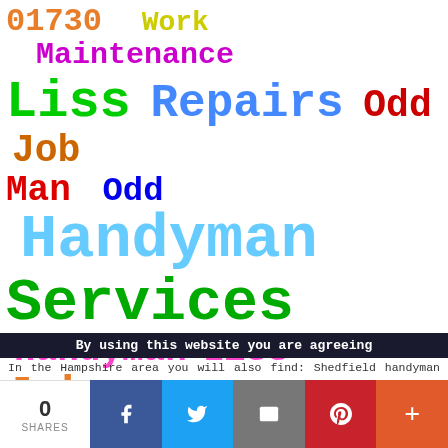[Figure (infographic): Word cloud / tag cloud with handyman/services related keywords in various bright colors and sizes on white background. Words include: 01730 (orange), Work (yellow), Maintenance (magenta), Liss (green), Repairs (blue), Odd Job (red/orange), Man (red), Odd (blue), Handyman (light blue, large), Services (green, large), Handyman (magenta), Liss (magenta), Job (orange)]
In the Hampshire area you will also find: Shedfield handyman services, North Baddesley handyman services, Cowplain handyman services, East Meon handyman services, Four Marks odd job men, Horton Heath handymen, Steep handymen, Bransgore handymen, Nursling odd job men, Upper Clatford odd job men, Oakley handyman services, Exton odd job men, Sparsholt handyman services, Chineham odd job men, Owslebury handyman services, Sway handyman services, Widley
By using this website you are agreeing
0 SHARES | Facebook | Twitter | Email | Pinterest | More